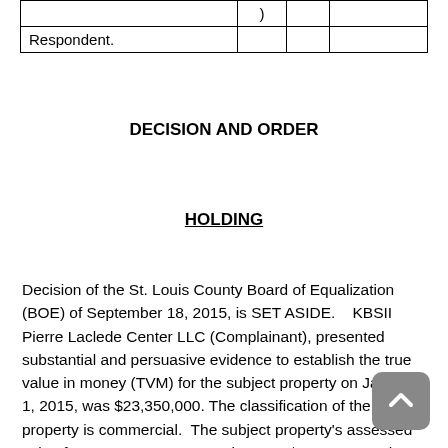| ) |  |  |
| Respondent. |  |  |
DECISION AND ORDER
HOLDING
Decision of the St. Louis County Board of Equalization (BOE) of September 18, 2015, is SET ASIDE.   KBSII Pierre Laclede Center LLC (Complainant), presented substantial and persuasive evidence to establish the true value in money (TVM) for the subject property on January 1, 2015, was $23,350,000. The classification of the subject property is commercial.  The subject property's assessed value for tax years 2015-2016 is set at $7,472,000.  The Complainant failed to present substantial and